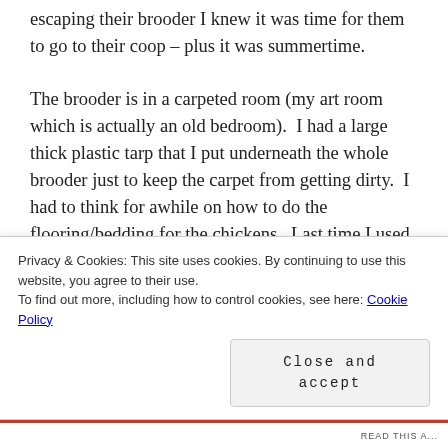escaping their brooder I knew it was time for them to go to their coop – plus it was summertime.

The brooder is in a carpeted room (my art room which is actually an old bedroom).  I had a large thick plastic tarp that I put underneath the whole brooder just to keep the carpet from getting dirty.  I had to think for awhile on how to do the flooring/bedding for the chickens.  Last time I used newspaper as their bedding with no problem, but I've since read that newspaper can get slippery and cause leg problems in developing chicks.   I also had to
Privacy & Cookies: This site uses cookies. By continuing to use this website, you agree to their use.
To find out more, including how to control cookies, see here: Cookie Policy
Close and accept
READ THIS A...